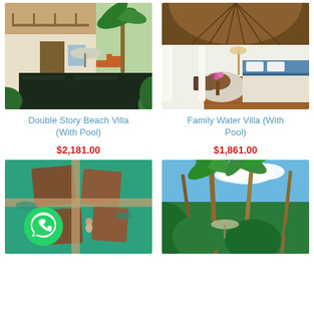[Figure (photo): Outdoor beach villa with pool, lounge chairs, palm trees, two-story building]
Double Story Beach Villa (With Pool)
$2,181.00
[Figure (photo): Interior of a luxury water villa room with round thatched ceiling, bed, chairs, wooden floor]
Family Water Villa (With Pool)
$1,861.00
[Figure (photo): Aerial view of water villas with green pool, with WhatsApp icon overlay]
[Figure (photo): Tropical garden with tall palm trees and blue sky]